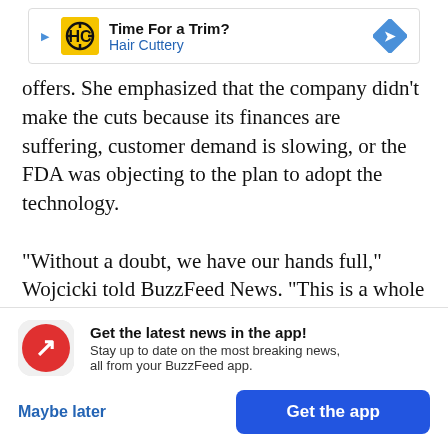[Figure (other): Advertisement banner for Hair Cuttery: 'Time For a Trim?' with HC logo and navigation arrow icon]
offers. She emphasized that the company didn't make the cuts because its finances are suffering, customer demand is slowing, or the FDA was objecting to the plan to adopt the technology.

“Without a doubt, we have our hands full,” Wojcicki told BuzzFeed News. “This is a whole new area. One of the things people are still figuring out with next-generation sequencing is ‘Exactly what does all that
[Figure (infographic): BuzzFeed app notification banner: 'Get the latest news in the app! Stay up to date on the most breaking news, all from your BuzzFeed app.' with Maybe later and Get the app buttons]